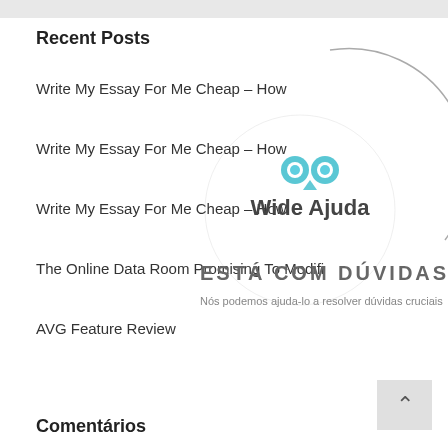Recent Posts
Write My Essay For Me Cheap – How
Write My Essay For Me Cheap – How
Write My Essay For Me Cheap – How
The Online Data Room Promising To Modifi
AVG Feature Review
[Figure (logo): Wide Ajuda logo overlay with owl icon and circular arc watermark, with 'ESTÁ COM DÚVIDAS?' text and 'Nós podemos ajuda-lo a resolver dúvidas cruciais' subtext]
Comentários